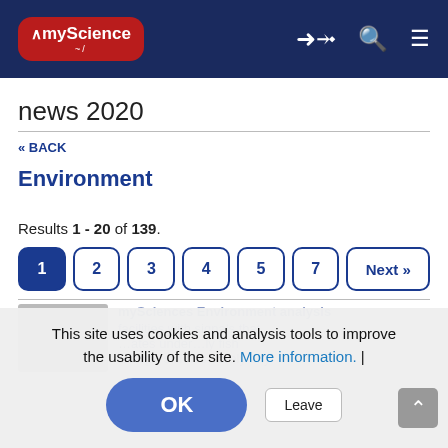[Figure (logo): myScience logo on dark navy header bar with login, search and menu icons]
news 2020
« BACK
Environment
Results 1 - 20 of 139.
1 2 3 4 5 7 Next »
This site uses cookies and analysis tools to improve the usability of the site. More information. |
OK
Leave